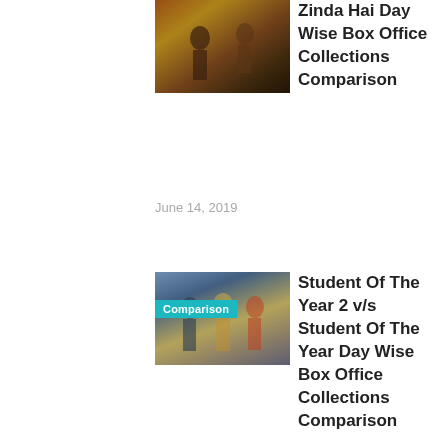[Figure (photo): Action movie thumbnail showing characters with weapons in a dusty scene]
Zinda Hai Day Wise Box Office Collections Comparison
June 14, 2019
[Figure (photo): Student of the Year 2 movie thumbnail with three young actors, with a cyan 'Comparison' badge overlay]
Student Of The Year 2 v/s Student Of The Year Day Wise Box Office Collections Comparison
June 01, 2019